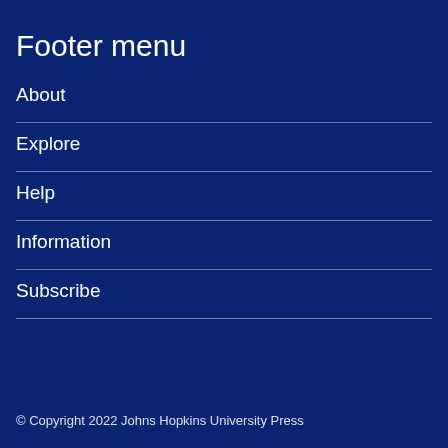Footer menu
About
Explore
Help
Information
Subscribe
© Copyright 2022 Johns Hopkins University Press